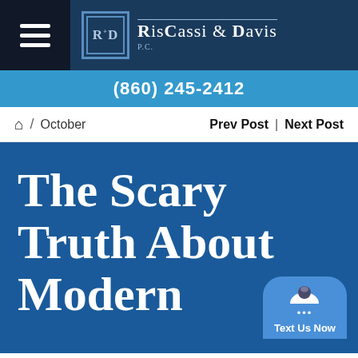RisCassi & Davis P.C. — (860) 245-2412
⌂ / October   Prev Post | Next Post
The Scary Truth About Modern Medicine